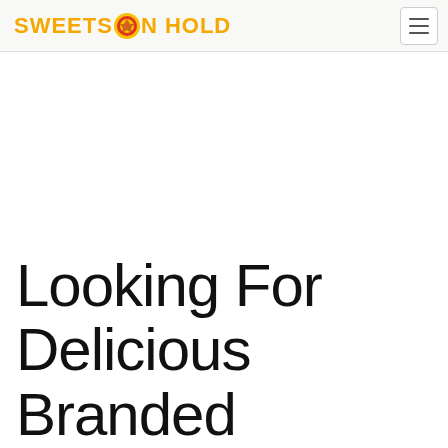SWEETS ON HOLD
Looking For Delicious Branded...